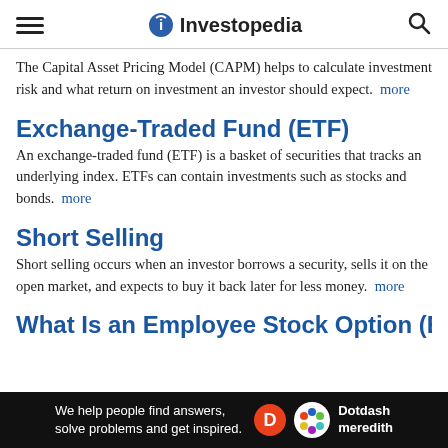Investopedia
The Capital Asset Pricing Model (CAPM) helps to calculate investment risk and what return on investment an investor should expect.  more
Exchange-Traded Fund (ETF)
An exchange-traded fund (ETF) is a basket of securities that tracks an underlying index. ETFs can contain investments such as stocks and bonds.  more
Short Selling
Short selling occurs when an investor borrows a security, sells it on the open market, and expects to buy it back later for less money.  more
What Is an Employee Stock Option (ESO)
[Figure (other): Dotdash Meredith advertisement banner: 'We help people find answers, solve problems and get inspired.' with D and Dotdash meredith logos on black background]